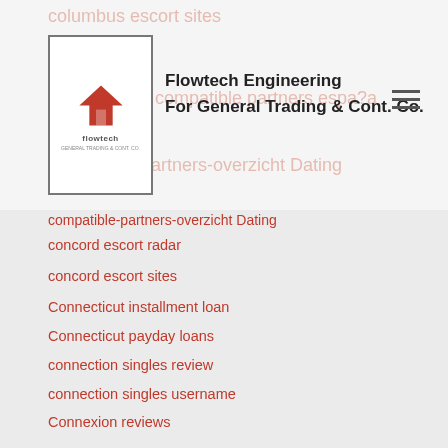Flowtech Engineering For General Trading & Cont. Co.
columbus escort sites
compatible partners espa?a
compatible-partners-overzicht Dating
concord escort radar
concord escort sites
Connecticut installment loan
Connecticut payday loans
connection singles review
connection singles username
Connexion reviews
conservative-chat-rooms dating
conservative-dating reviews
coral-springs escort
coral-springs escort index